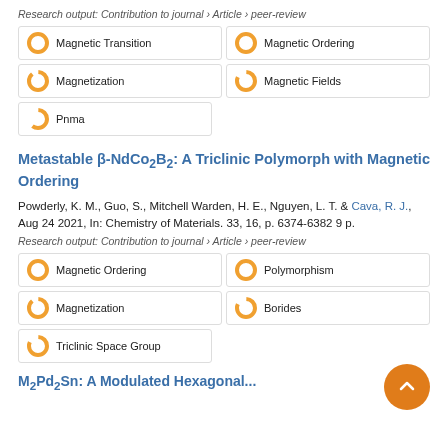Research output: Contribution to journal › Article › peer-review
Magnetic Transition
Magnetic Ordering
Magnetization
Magnetic Fields
Pnma
Metastable β-NdCo₂B₂: A Triclinic Polymorph with Magnetic Ordering
Powderly, K. M., Guo, S., Mitchell Warden, H. E., Nguyen, L. T. & Cava, R. J., Aug 24 2021, In: Chemistry of Materials. 33, 16, p. 6374-6382 9 p.
Research output: Contribution to journal › Article › peer-review
Magnetic Ordering
Polymorphism
Magnetization
Borides
Triclinic Space Group
M₂Pd₂Sn: A Modulated Hexagonal...